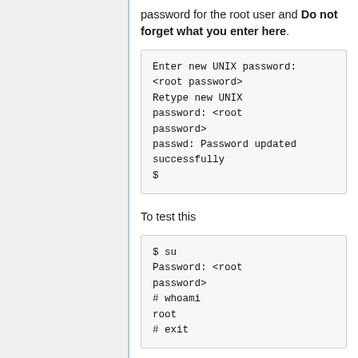password for the root user and Do not forget what you enter here.
[Figure (screenshot): Terminal code block showing: Enter new UNIX password: <root password> Retype new UNIX password: <root password> passwd: Password updated successfully $]
To test this
[Figure (screenshot): Terminal code block showing: $ su Password: <root password> # whoami root # exit]